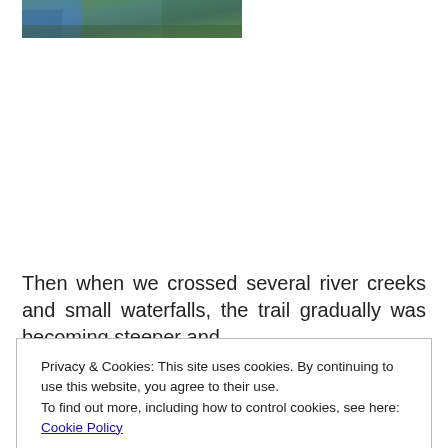[Figure (photo): Partial view of a person hiking in a green forested area with blue clothing visible at top left]
Then when we crossed several river creeks and small waterfalls, the trail gradually was becoming steeper and
Privacy & Cookies: This site uses cookies. By continuing to use this website, you agree to their use.
To find out more, including how to control cookies, see here: Cookie Policy

Close and accept
ranges standing high in front of us, and could guess that